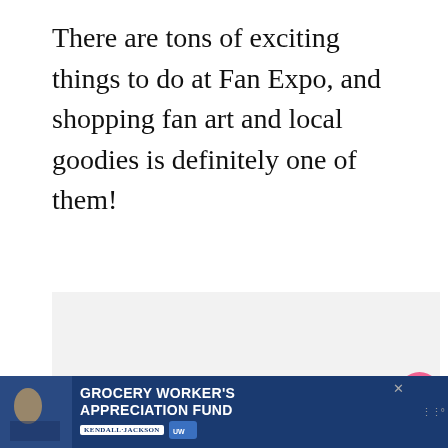There are tons of exciting things to do at Fan Expo, and shopping fan art and local goodies is definitely one of them!
[Figure (photo): Large image placeholder area (light gray background), showing a fan expo or related scene]
[Figure (infographic): UI sidebar with heart/like button (pink circle with heart icon), like count of 52, and share button (light circle with share icon)]
[Figure (infographic): What's Next teaser: circular thumbnail image, label 'WHAT'S NEXT →', title text 'When Is the Best Time to...']
[Figure (infographic): Advertisement banner: blue background, 'GROCERY WORKER'S APPRECIATION FUND' in white bold text, Kendall-Jackson and United Way logos, close button, mute icon]